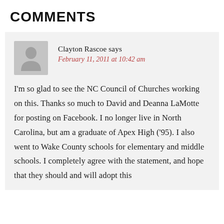COMMENTS
Clayton Rascoe says
February 11, 2011 at 10:42 am
I'm so glad to see the NC Council of Churches working on this. Thanks so much to David and Deanna LaMotte for posting on Facebook. I no longer live in North Carolina, but am a graduate of Apex High ('95). I also went to Wake County schools for elementary and middle schools. I completely agree with the statement, and hope that they should and will adopt this